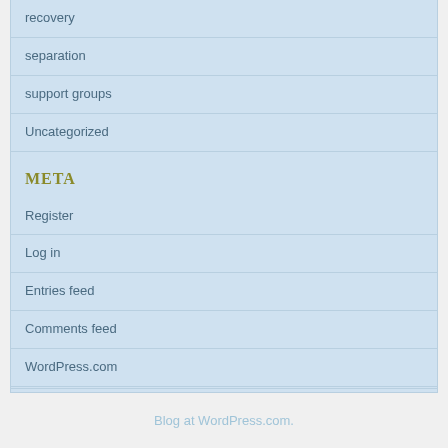recovery
separation
support groups
Uncategorized
META
Register
Log in
Entries feed
Comments feed
WordPress.com
Blog at WordPress.com.